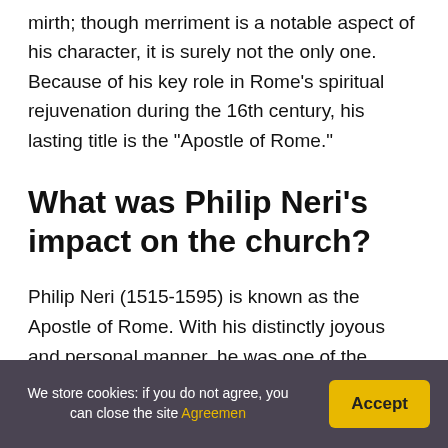mirth; though merriment is a notable aspect of his character, it is surely not the only one. Because of his key role in Rome's spiritual rejuvenation during the 16th century, his lasting title is the "Apostle of Rome."
What was Philip Neri's impact on the church?
Philip Neri (1515-1595) is known as the Apostle of Rome. With his distinctly joyous and personal manner, he was one of the influential figures of the Catholic Reformation. His special contribution was the creation of the Congregation of the Oratory...
We store cookies: if you do not agree, you can close the site Agreemen